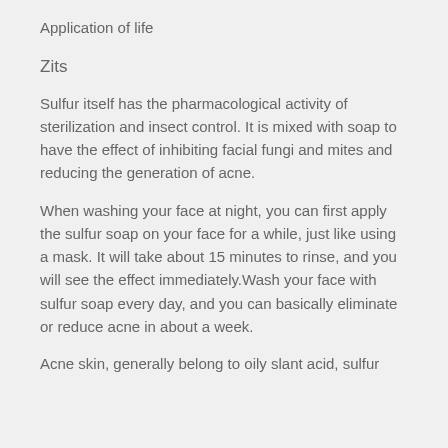Application of life
Zits
Sulfur itself has the pharmacological activity of sterilization and insect control. It is mixed with soap to have the effect of inhibiting facial fungi and mites and reducing the generation of acne.
When washing your face at night, you can first apply the sulfur soap on your face for a while, just like using a mask. It will take about 15 minutes to rinse, and you will see the effect immediately.Wash your face with sulfur soap every day, and you can basically eliminate or reduce acne in about a week.
Acne skin, generally belong to oily slant acid, sulfur